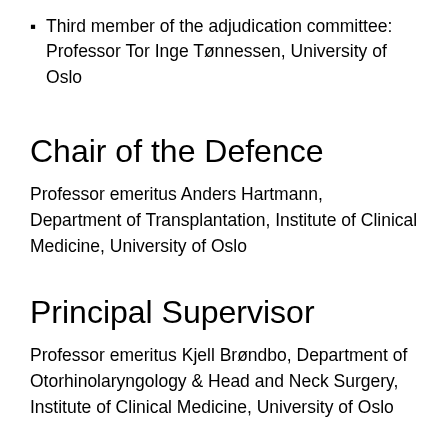Third member of the adjudication committee: Professor Tor Inge Tønnessen, University of Oslo
Chair of the Defence
Professor emeritus Anders Hartmann, Department of Transplantation, Institute of Clinical Medicine, University of Oslo
Principal Supervisor
Professor emeritus Kjell Brøndbo, Department of Otorhinolaryngology & Head and Neck Surgery, Institute of Clinical Medicine, University of Oslo
Summary